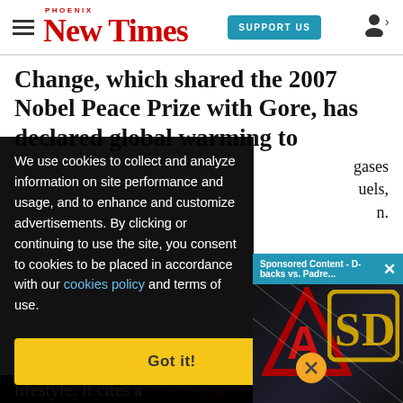Phoenix New Times | SUPPORT US
Change, which shared the 2007 Nobel Peace Prize with Gore, has declared global warming to [be caused by greenhouse] gases [from burning fossil] fuels, [among other things]. [truncated]
We use cookies to collect and analyze information on site performance and usage, and to enhance and [customize] advertisements. By [clicking or] continuing to use the [site, you consent to] cookies to be placed [in accordance with] our cookies policy a[nd terms of use.]
[Figure (screenshot): Sponsored Content popup showing D-backs vs. Padres video advertisement with Arizona Diamondbacks and San Diego Padres logos on dark background, with mute button overlay]
lifestyle. It cites a 2006 report from the U.N.